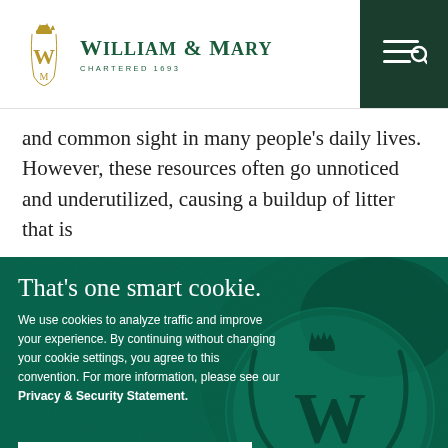William & Mary — Chartered 1693
and common sight in many people's daily lives. However, these resources often go unnoticed and underutilized, causing a buildup of litter that is
[Figure (screenshot): William & Mary cookie consent banner overlay on a dark green background showing the university wax seal. Text reads: That's one smart cookie. We use cookies to analyze traffic and improve your experience. By continuing without changing your cookie settings, you agree to this convention. For more information, please see our Privacy & Security Statement. Button: OK, GOT IT]